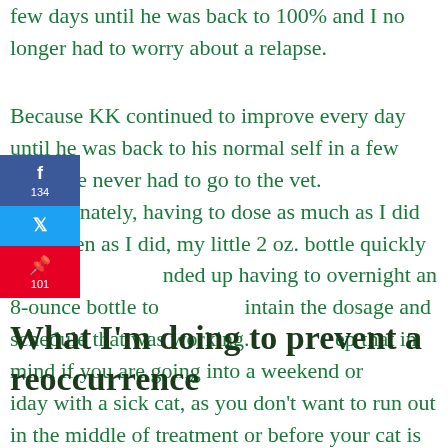few days until he was back to 100% and I no longer had to worry about a relapse.
Because KK continued to improve every day until he was back to his normal self in a few days, we never had to go to the vet.  Unfortunately, having to dose as much as I did and as often as I did, my little 2 oz. bottle quickly ran out. I ended up having to overnight an 8-ounce bottle to maintain the dosage and schedule that was working. Keep that in mind if you are going into a weekend or holiday with a sick cat, as you don't want to run out in the middle of treatment or before your cat is all better.
What I'm doing to prevent a reoccurrence